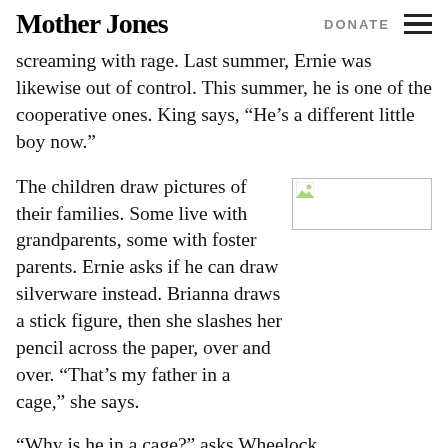Mother Jones | DONATE
screaming with rage. Last summer, Ernie was likewise out of control. This summer, he is one of the cooperative ones. King says, “He’s a different little boy now.”
The children draw pictures of their families. Some live with grandparents, some with foster parents. Ernie asks if he can draw silverware instead. Brianna draws a stick figure, then she slashes her pencil across the paper, over and over. “That’s my father in a cage,” she says.
[Figure (photo): Small broken/missing image placeholder icon]
“Why is he in a cage?” asks Wheelock.
“My dad in jail. My father’s dead. Cops shoot him.”